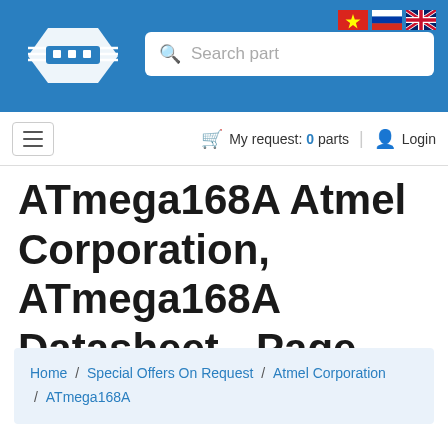[Figure (screenshot): Website header with blue background, company logo (stylized chip icon), search bar with placeholder 'Search part', and language flag icons (Vietnamese, Russian, English) in the top right]
My request: 0 parts   Login
ATmega168A Atmel Corporation, ATmega168A Datasheet - Page 163
Home / Special Offers On Request / Atmel Corporation / ATmega168A